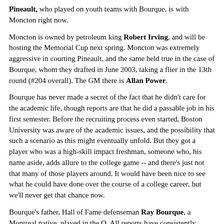Pineault, who played on youth teams with Bourque, is with Moncton right now.
Moncton is owned by petroleum king Robert Irving, and will be hosting the Memorial Cup next spring. Moncton was extremely aggressive in courting Pineault, and the same held true in the case of Bourque, whom they drafted in June 2003, taking a flier in the 13th round (#204 overall). The GM there is Allan Power.
Bourque has never made a secret of the fact that he didn't care for the academic life, though reports are that he did a passable job in his first semester. Before the recruiting process even started, Boston University was aware of the academic issues, and the possibility that such a scenario as this might eventually unfold. But they got a player who was a high-skill impact freshman, someone who, his name aside, adds allure to the college game -- and there's just not that many of those players around. It would have been nice to see what he could have done over the course of a college career, but we'll never get that chance now.
Bourque's father, Hall of Fame defenseman Ray Bourque, a Montreal native, played in the Q. All reports have consistently maintained that the elder Bourque wanted his son to have the one thing he never got – a college education.